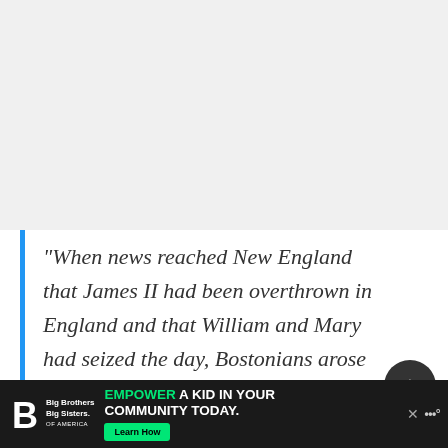“When news reached New England that James II had been overthrown in England and that William and Mary had seized the day, Bostonians arose in April 1689 to imprison Governor Andros and declare the Dominion defunct. That
[Figure (other): Advertisement banner at bottom: Big Brothers Big Sisters logo on left, green text 'EMPOWER A KID IN YOUR COMMUNITY TODAY.' with 'Learn How' button, close X button, and weather widget on right]